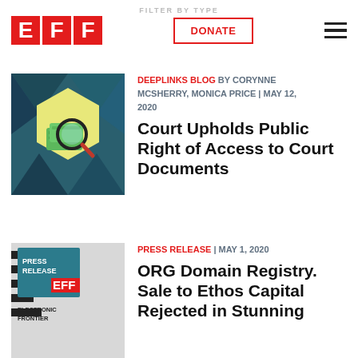EFF | DONATE | FILTER BY TYPE
[Figure (illustration): EFF Deeplinks Blog article thumbnail: magnifying glass over money/documents on teal geometric hexagon background]
DEEPLINKS BLOG BY CORYNNE MCSHERRY, MONICA PRICE | MAY 12, 2020
Court Upholds Public Right of Access to Court Documents
[Figure (illustration): EFF Press Release article thumbnail: gray background with EFF logo and text PRESS RELEASE ELECTRONIC FRONTIER]
PRESS RELEASE | MAY 1, 2020
ORG Domain Registry. Sale to Ethos Capital Rejected in Stunning...